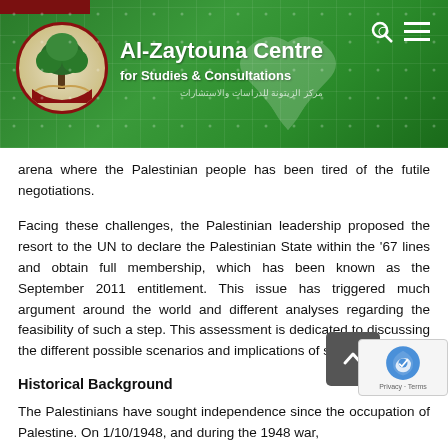[Figure (logo): Al-Zaytouna Centre for Studies & Consultations website header banner with green background, grid pattern, organization logo (circular with tree), organization name in white text, search and menu icons]
arena where the Palestinian people has been tired of the futile negotiations.
Facing these challenges, the Palestinian leadership proposed the resort to the UN to declare the Palestinian State within the '67 lines and obtain full membership, which has been known as the September 2011 entitlement. This issue has triggered much argument around the world and different analyses regarding the feasibility of such a step. This assessment is dedicated to discussing the different possible scenarios and implications of such a move.
Historical Background
The Palestinians have sought independence since the occupation of Palestine. On 1/10/1948, and during the 1948 war,